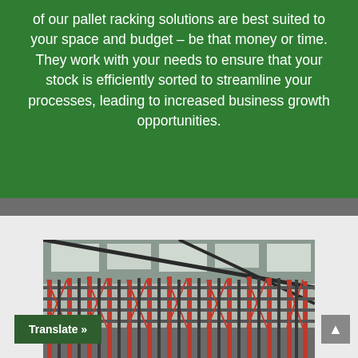of our pallet racking solutions are best suited to your space and budget – be that money or time. They work with your needs to ensure that your stock is efficiently sorted to streamline your processes, leading to increased business growth opportunities.
[Figure (photo): Interior of a large warehouse with tall red pallet racking systems arranged in rows under a corrugated metal roof with skylights.]
Translate »